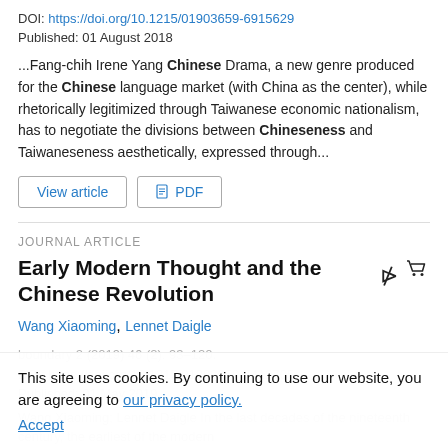DOI: https://doi.org/10.1215/01903659-6915629
Published: 01 August 2018
...Fang-chih Irene Yang Chinese Drama, a new genre produced for the Chinese language market (with China as the center), while rhetorically legitimized through Taiwanese economic nationalism, has to negotiate the divisions between Chineseness and Taiwaneseness aesthetically, expressed through...
View article | PDF
JOURNAL ARTICLE
Early Modern Thought and the Chinese Revolution
Wang Xiaoming, Lennet Daigle
boundary 2 (2019) 46 (2): 93–120.
This site uses cookies. By continuing to use our website, you are agreeing to our privacy policy. Accept